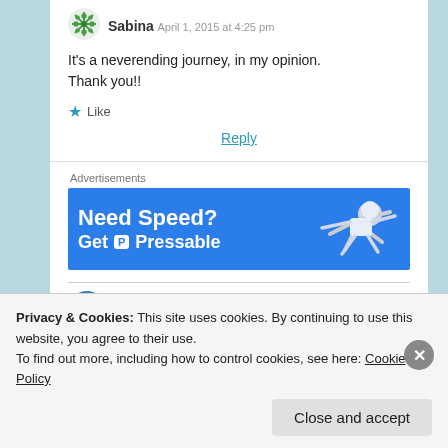[Figure (illustration): Green snowflake-style avatar icon for user Sabina]
Sabina April 1, 2015 at 4:25 pm
It's a neverending journey, in my opinion.
Thank you!!
★ Like
Reply
Advertisements
[Figure (screenshot): Blue advertisement banner reading 'Need Speed? Get P Pressable' with a figure of a person diving/flying on the right side]
[Figure (illustration): Partial circular avatar for next commenter]
Privacy & Cookies: This site uses cookies. By continuing to use this website, you agree to their use.
To find out more, including how to control cookies, see here: Cookie Policy
Close and accept